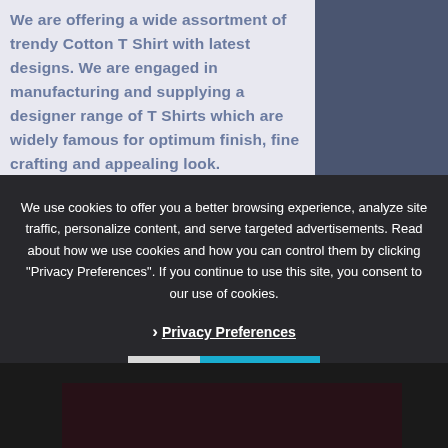We are offering a wide assortment of trendy Cotton T Shirt with latest designs. We are engaged in manufacturing and supplying a designer range of T Shirts which are widely famous for optimum finish, fine crafting and appealing look.
We use cookies to offer you a better browsing experience, analyze site traffic, personalize content, and serve targeted advertisements. Read about how we use cookies and how you can control them by clicking "Privacy Preferences". If you continue to use this site, you consent to our use of cookies.
› Privacy Preferences
✓  I Agree
[Figure (screenshot): Dark bottom section showing a black t-shirt image partially visible behind a cookie consent modal overlay]